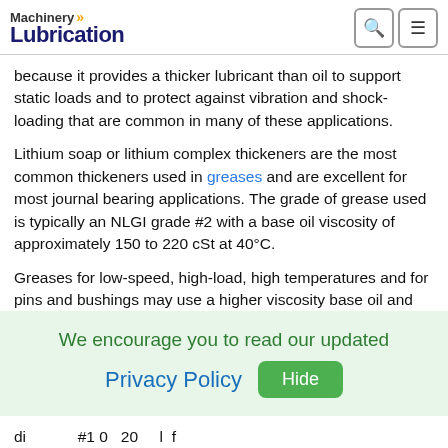Machinery Lubrication
because it provides a thicker lubricant than oil to support static loads and to protect against vibration and shock-loading that are common in many of these applications.
Lithium soap or lithium complex thickeners are the most common thickeners used in greases and are excellent for most journal bearing applications. The grade of grease used is typically an NLGI grade #2 with a base oil viscosity of approximately 150 to 220 cSt at 40°C.
Greases for low-speed, high-load, high temperatures and for pins and bushings may use a higher viscosity base oil and be formulated with EP and solid additives. Greases for improved water resistance may be formulated with heavier base oils,
We encourage you to read our updated Privacy Policy  Hide
di...          #1 0  20    l  f